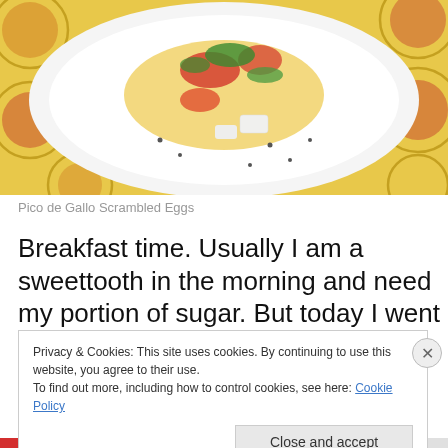[Figure (photo): A white plate with scrambled eggs topped with pico de gallo (tomatoes, green onions, herbs) and black pepper, on a colorful yellow patterned tablecloth with circle motifs in red and beige.]
Pico de Gallo Scrambled Eggs
Breakfast time. Usually I am a sweettooth in the morning and need my portion of sugar. But today I went for
Privacy & Cookies: This site uses cookies. By continuing to use this website, you agree to their use.
To find out more, including how to control cookies, see here: Cookie Policy
Close and accept